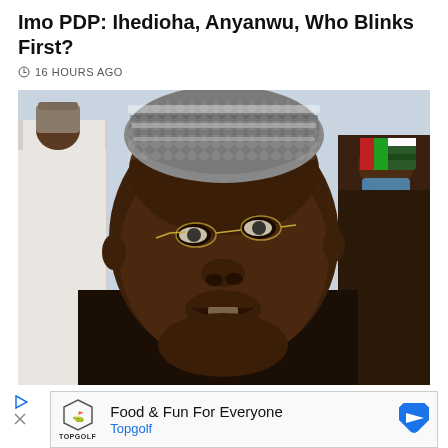Imo PDP: Ihedioha, Anyanwu, Who Blinks First?
16 HOURS AGO
[Figure (photo): Close-up photo of a Nigerian man wearing a patterned kufi cap and rimless glasses, looking upward. In the background to the left is a taller man in a white kaftan, and to the right is an older man wearing a colorful striped gele headwrap and a blue mask.]
[Figure (infographic): Advertisement banner for Topgolf: shows Topgolf shield logo on the left, text 'Food & Fun For Everyone' and 'Topgolf' in blue on the right, with a blue diamond arrow icon on the far right. Below are small play and close icons.]